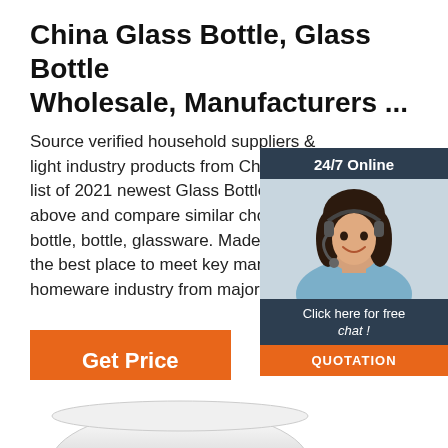China Glass Bottle, Glass Bottle Wholesale, Manufacturers ...
Source verified household suppliers & light industry products from China. Check list of 2021 newest Glass Glass Bottle manu above and compare similar choices like bottle, bottle, glassware. Made-in-China is the best place to meet key manufacturers homeware industry from major regions.
[Figure (photo): Chat widget with woman wearing headset, showing 24/7 Online label, Click here for free chat text, and QUOTATION button]
[Figure (other): Get Price orange button]
[Figure (other): TOP navigation icon with orange dots and text]
[Figure (photo): Bottom of page showing partial product image - appears to be a glass or metallic vessel]